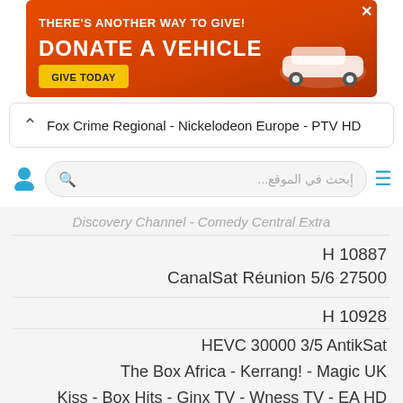[Figure (other): Orange advertisement banner: 'THERE'S ANOTHER WAY TO GIVE! DONATE A VEHICLE' with 'GIVE TODAY' button and white car image]
Fox Crime Regional - Nickelodeon Europe - PTV HD
إبحث في الموقع...
Discovery Channel - Comedy Central Extra
H 10887
CanalSat Réunion 5/6 27500
H 10928
HEVC 30000 3/5 AntikSat
The Box Africa - Kerrang! - Magic UK
Kiss - Box Hits - Ginx TV - Wness TV - EA HD